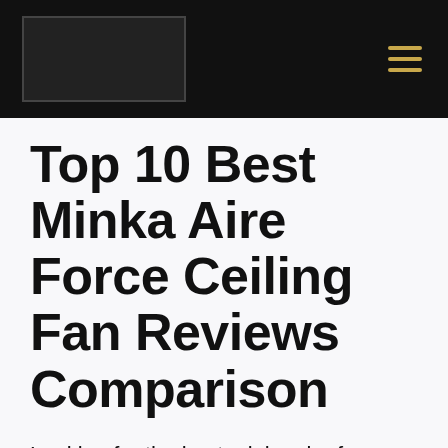[Figure (logo): Dark rectangular logo placeholder in black header bar with hamburger menu icon]
Top 10 Best Minka Aire Force Ceiling Fan Reviews Comparison
Looking for the best minka aire force ceiling fan? We have evaluated 175402 reviews from top experts. Here are our top-ranked picks, including top-selling minka aire force